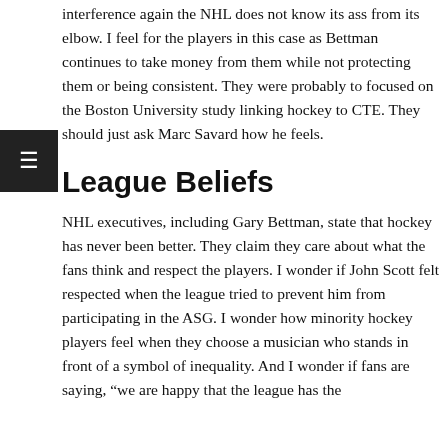interference again the NHL does not know its ass from its elbow. I feel for the players in this case as Bettman continues to take money from them while not protecting them or being consistent. They were probably to focused on the Boston University study linking hockey to CTE. They should just ask Marc Savard how he feels.
League Beliefs
NHL executives, including Gary Bettman, state that hockey has never been better. They claim they care about what the fans think and respect the players. I wonder if John Scott felt respected when the league tried to prevent him from participating in the ASG. I wonder how minority hockey players feel when they choose a musician who stands in front of a symbol of inequality. And I wonder if fans are saying, “we are happy that the league has the